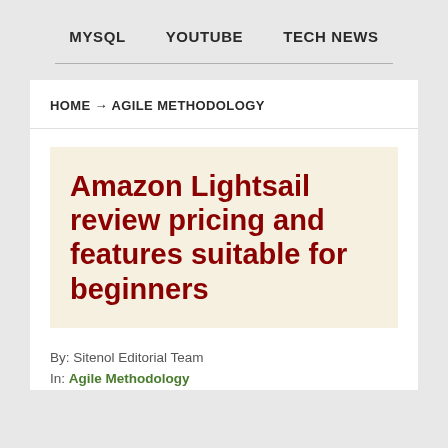MYSQL   YOUTUBE   TECH NEWS
HOME → AGILE METHODOLOGY
Amazon Lightsail review pricing and features suitable for beginners
By: Sitenol Editorial Team
In: Agile Methodology